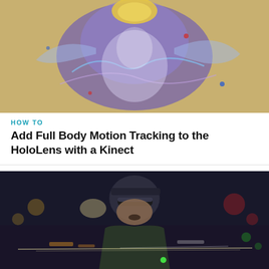[Figure (photo): A colorful holographic/augmented reality figure with purple and blue hues, glowing digital elements, against a warm background.]
HOW TO
Add Full Body Motion Tracking to the HoloLens with a Kinect
[Figure (photo): A man wearing a HoloLens headset in a dark scene, with bright holographic light streaks and AR overlays visible, set against a nighttime city background.]
NEWS
Inside Microsoft Mesh, What Is It & How Does It Work? We Have the Answers